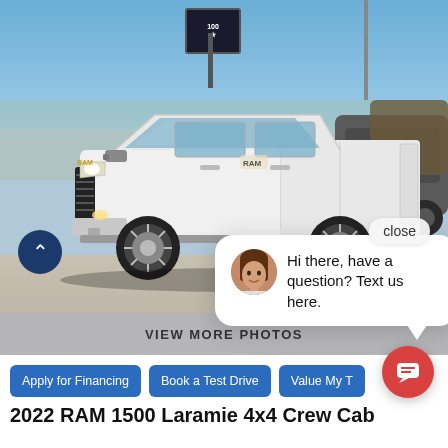[Figure (photo): White 2022 RAM 1500 Laramie 4x4 Crew Cab pickup truck parked at a dealership lot. Blue sky background, dealership sign visible, other vehicles in the background.]
close
Hi there, have a question? Text us here.
VIEW MORE PHOTOS
Apply for Financing
Book a Test Drive
Value My T
2022 RAM 1500 Laramie 4x4 Crew Cab